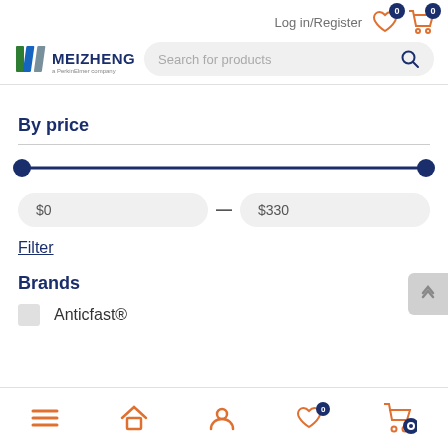[Figure (logo): Meizheng logo with colored bars and 'a PerkinElmer company' text]
Log in/Register
Search for products
By price
[Figure (other): Price range slider with two handles at $0 and $330]
$0
$330
Filter
Brands
Anticfast®
Bottom navigation bar with menu, home, user, wishlist, and cart icons